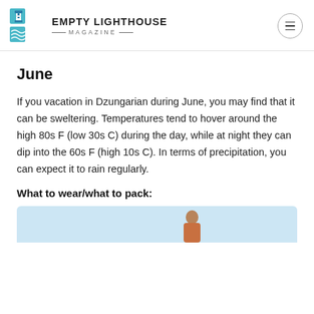EMPTY LIGHTHOUSE MAGAZINE
June
If you vacation in Dzungarian during June, you may find that it can be sweltering. Temperatures tend to hover around the high 80s F (low 30s C) during the day, while at night they can dip into the 60s F (high 10s C). In terms of precipitation, you can expect it to rain regularly.
What to wear/what to pack:
[Figure (photo): Partial photo visible at the bottom of the page, light blue background with a partial figure]